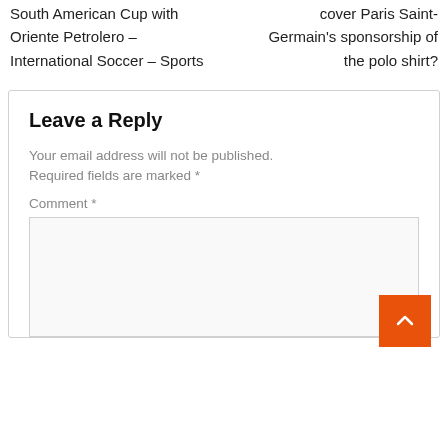South American Cup with Oriente Petrolero – International Soccer – Sports
cover Paris Saint-Germain's sponsorship of the polo shirt?
Leave a Reply
Your email address will not be published. Required fields are marked *
Comment *